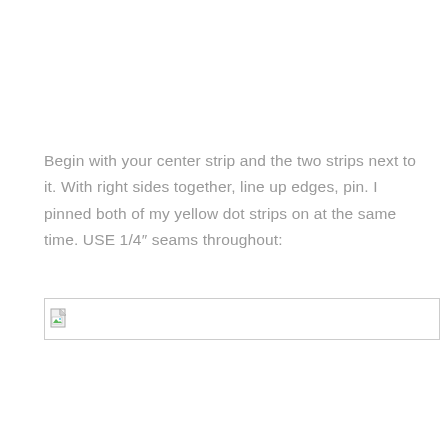Begin with your center strip and the two strips next to it. With right sides together, line up edges, pin. I pinned both of my yellow dot strips on at the same time. USE 1/4" seams throughout:
[Figure (photo): Broken/missing image placeholder with small image icon in the top-left corner]